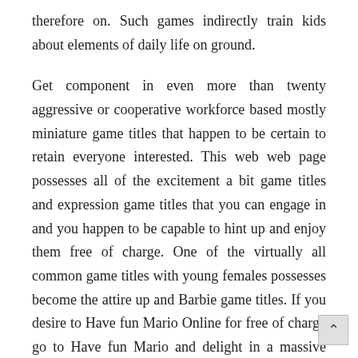therefore on. Such games indirectly train kids about elements of daily life on ground.
Get component in even more than twenty aggressive or cooperative workforce based mostly miniature game titles that happen to be certain to retain everyone interested. This web web page possesses all of the excitement a bit game titles and expression game titles that you can engage in and you happen to be capable to hint up and enjoy them free of charge. One of the virtually all common game titles with young females possesses become the attire up and Barbie game titles. If you desire to Have fun Mario Online for free of charge go to Have fun Mario and delight in a massive collection of various Mario games to play.
Right now you can appreciate enjoying nearly just about everywhere and anytime, provided